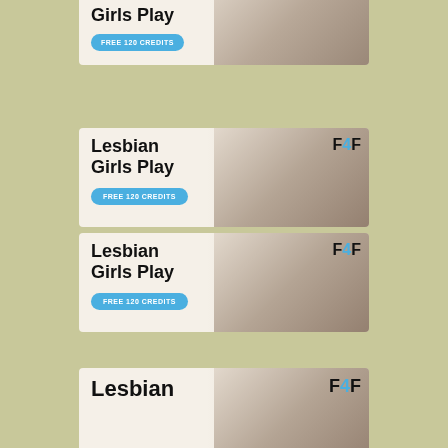[Figure (advertisement): Adult dating site ad banner (partially cropped at top) showing 'Lesbian Girls Play' text with 'FREE 120 CREDITS' button and F4F logo]
[Figure (advertisement): Adult dating site ad banner showing 'Lesbian Girls Play' text with 'FREE 120 CREDITS' button and F4F logo]
[Figure (advertisement): Adult dating site ad banner showing 'Lesbian Girls Play' text with 'FREE 120 CREDITS' button and F4F logo]
[Figure (advertisement): Adult dating site ad banner (partially cropped at bottom) showing 'Lesbian' text beginning and F4F logo]